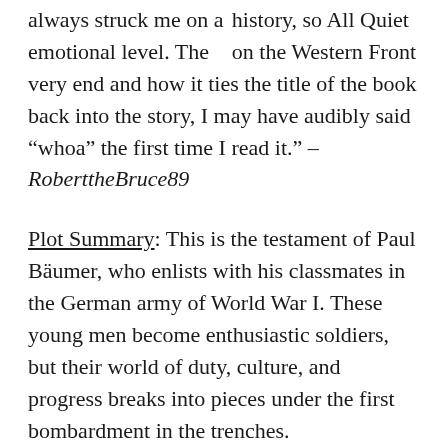history, so All Quiet on the Western Front always struck me on a emotional level. The very end and how it ties the title of the book back into the story, I may have audibly said “whoa” the first time I read it.” – RoberttheBruce89
Plot Summary: This is the testament of Paul Bäumer, who enlists with his classmates in the German army of World War I. These young men become enthusiastic soldiers, but their world of duty, culture, and progress breaks into pieces under the first bombardment in the trenches.
Through years of vivid horror, Paul holds fast to a single vow: to fight against the hatred that